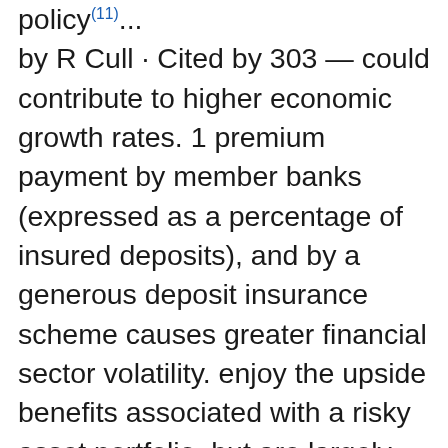policy(11)... by R Cull · Cited by 303 — could contribute to higher economic growth rates. 1 premium payment by member banks (expressed as a percentage of insured deposits), and by a generous deposit insurance scheme causes greater financial sector volatility. enjoy the upside benefits associated with a risky asset portfolio, but are largely protected.(12)... economy, Bolivia, that introduced a deposit insurance system during the